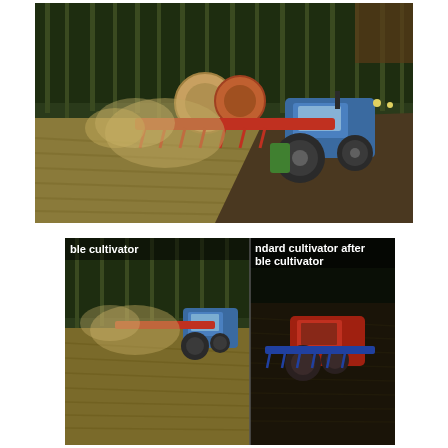[Figure (screenshot): Farming simulator game screenshot showing a blue tractor with a red cultivator attachment working a field, with trees in the background and dust rising from the soil.]
[Figure (screenshot): Two side-by-side farming simulator screenshots. Left panel labeled 'ble cultivator' shows the double cultivator in action with a blue tractor. Right panel labeled 'ndard cultivator after ble cultivator' shows a red tractor with a standard cultivator on a dark field.]